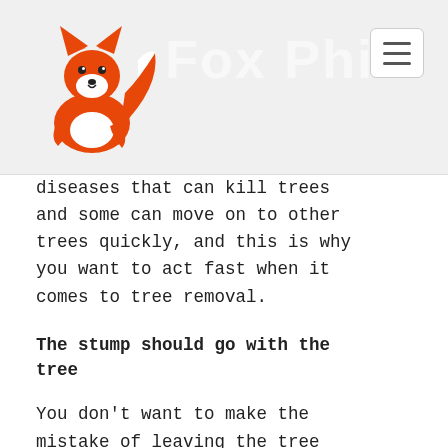[Figure (logo): Fox Phil website logo with orange fox illustration and 'Fox Phil' text in light gray on a light gray header background, with hamburger menu button in top right]
diseases that can kill trees and some can move on to other trees quickly, and this is why you want to act fast when it comes to tree removal.
The stump should go with the tree
You don't want to make the mistake of leaving the tree stump. For one thing, the stump will affect the whole look of